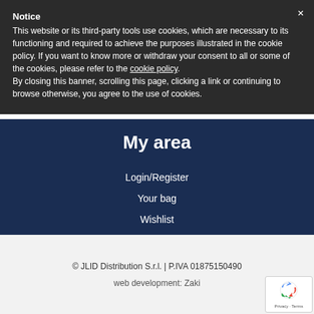Notice
This website or its third-party tools use cookies, which are necessary to its functioning and required to achieve the purposes illustrated in the cookie policy. If you want to know more or withdraw your consent to all or some of the cookies, please refer to the cookie policy.
By closing this banner, scrolling this page, clicking a link or continuing to browse otherwise, you agree to the use of cookies.
My area
Login/Register
Your bag
Wishlist
© JLID Distribution S.r.l. | P.IVA 01875150490
web development: Zaki
[Figure (logo): reCAPTCHA privacy badge with spinning arrows logo and Privacy - Terms text]